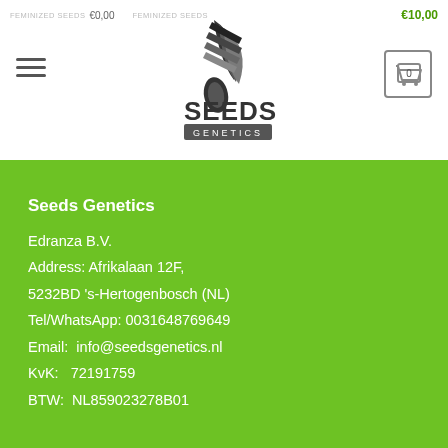FEMINIZED SEEDS €0,00   FEMINIZED SEEDS €10,00
[Figure (logo): Seeds Genetics logo with stylized leaf/seed icon and green text]
Seeds Genetics
Edranza B.V.
Address: Afrikalaan 12F,
5232BD 's-Hertogenbosch (NL)
Tel/WhatsApp: 0031648769649
Email: info@seedsgenetics.nl
KvK: 72191759
BTW: NL859023278B01